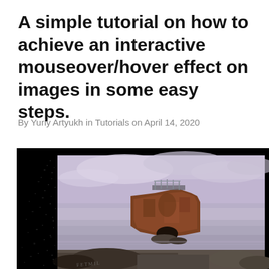A simple tutorial on how to achieve an interactive mouseover/hover effect on images in some easy steps.
By Yuriy Artyukh in Tutorials on April 14, 2020
[Figure (photo): A rusted ship bow stranded on rocks at the water's edge, with a dramatic cloudy sky in the background. The left side of the image shows a pixel/particle scatter disintegration effect transitioning from the dark background. The image has a dark black border/frame.]